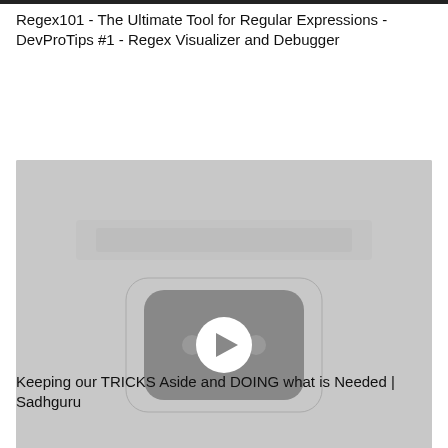Regex101 - The Ultimate Tool for Regular Expressions - DevProTips #1 - Regex Visualizer and Debugger
[Figure (screenshot): Video thumbnail showing a YouTube-style play button (white circle with triangle) on a gray background with a rounded-rectangle YouTube logo shape.]
Keeping our TRICKS Aside and DOING what is Needed | Sadhguru